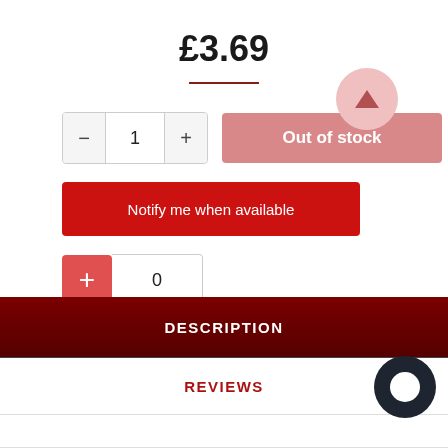£3.69
1
Out of stock
Notify me when available
0
DESCRIPTION
REVIEWS